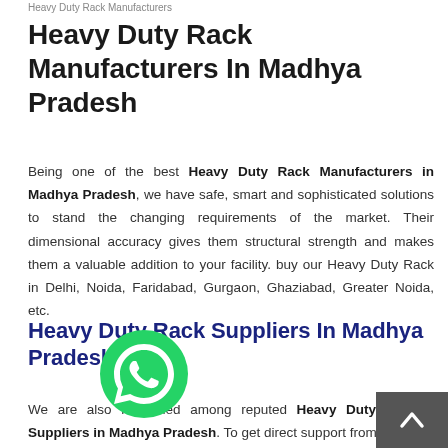Heavy Duty Rack Manufacturers
Heavy Duty Rack Manufacturers In Madhya Pradesh
Being one of the best Heavy Duty Rack Manufacturers in Madhya Pradesh, we have safe, smart and sophisticated solutions to stand the changing requirements of the market. Their dimensional accuracy gives them structural strength and makes them a valuable addition to your facility. buy our Heavy Duty Rack in Delhi, Noida, Faridabad, Gurgaon, Ghaziabad, Greater Noida, etc.
Heavy Duty Rack Suppliers In Madhya Pradesh
We are also renowned among reputed Heavy Duty Rack Suppliers in Madhya Pradesh. To get direct support from our